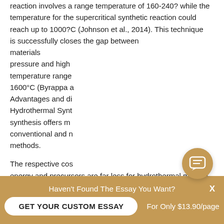reaction involves a range temperature of 160-240? while the temperature for the supercritical synthetic reaction could reach up to 1000?C (Johnson et al., 2014). This technique is successfully closes the gap between materials pressure and high temperature range 1600°C (Byrappa a Advantages and di Hydrothermal Synt synthesis offers m conventional and n methods.
The respective cos energy and precursors are far less for hydrothermal method compared to the
[Figure (screenshot): Chat popup with avatar of a young man, greeting Hi! I'm Piter!, and message: Would you like to get a custom essay? How about receiving a customized one? Check it out]
[Figure (screenshot): Floating chat button (speech bubble icon) in gold/tan color]
Haven't Found The Essay You Want?   X   GET YOUR CUSTOM ESSAY   For Only $13.90/page